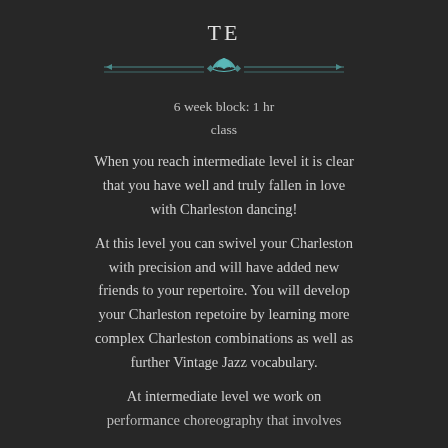TE
[Figure (illustration): Decorative divider with teal/turquoise fan shell motif in center flanked by ornamental horizontal lines]
6 week block: 1 hr
class
When you reach intermediate level it is clear that you have well and truly fallen in love with Charleston dancing!
At this level you can swivel your Charleston with precision and will have added new friends to your repertoire. You will develop your Charleston repetoire by learning more complex Charleston combinations as well as further Vintage Jazz vocabulary.
At intermediate level we work on performance choreography that involves...